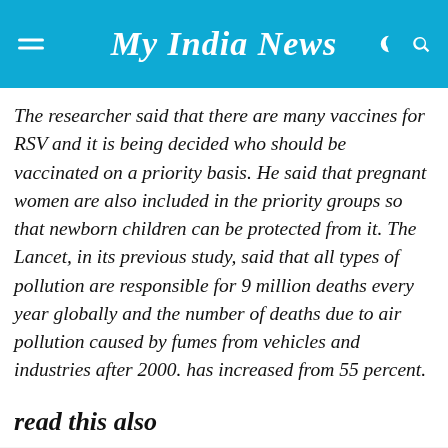My India News
The researcher said that there are many vaccines for RSV and it is being decided who should be vaccinated on a priority basis. He said that pregnant women are also included in the priority groups so that newborn children can be protected from it. The Lancet, in its previous study, said that all types of pollution are responsible for 9 million deaths every year globally and the number of deaths due to air pollution caused by fumes from vehicles and industries after 2000. has increased from 55 percent.
read this also